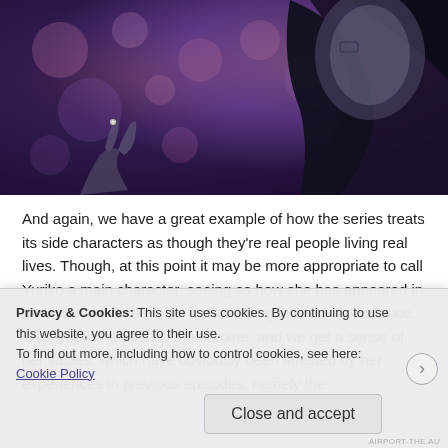[Figure (illustration): Anime-style illustration showing a dark-haired character in close-up with bokeh purple/pink background lighting, holding something small between fingers.]
And again, we have a great example of how the series treats its side characters as though they're real people living real lives. Though, at this point it may be more appropriate to call Yuriko a main character, seeing as how she has appeared in almost every episode so far in varying levels of importance. This week she acts as the heroine, and we get a sense of her values, which have obviously been affected by her experiences in previous episodes, namely the
Privacy & Cookies: This site uses cookies. By continuing to use this website, you agree to their use.
To find out more, including how to control cookies, see here: Cookie Policy
Close and accept